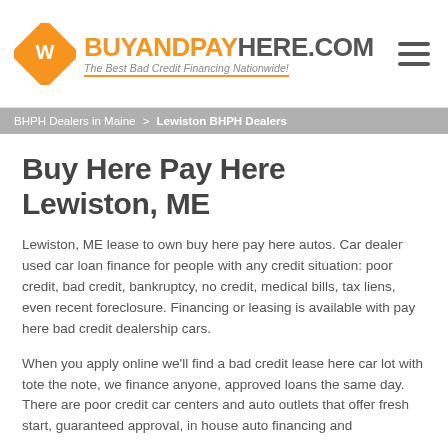[Figure (logo): BuyAndPayHere.com logo with orange diamond icon and tagline 'The Best Bad Credit Financing Nationwide!']
BHPH Dealers in Maine > Lewiston BHPH Dealers
Buy Here Pay Here Lewiston, ME
Lewiston, ME lease to own buy here pay here autos. Car dealer used car loan finance for people with any credit situation: poor credit, bad credit, bankruptcy, no credit, medical bills, tax liens, even recent foreclosure. Financing or leasing is available with pay here bad credit dealership cars.
When you apply online we'll find a bad credit lease here car lot with tote the note, we finance anyone, approved loans the same day. There are poor credit car centers and auto outlets that offer fresh start, guaranteed approval, in house auto financing and